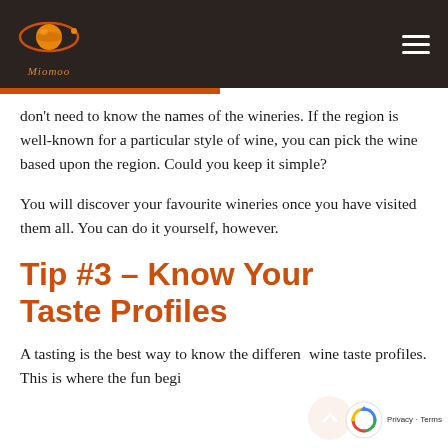Miomoo (logo and navigation header)
don't need to know the names of the wineries. If the region is well-known for a particular style of wine, you can pick the wine based upon the region. Could you keep it simple?
You will discover your favourite wineries once you have visited them all. You can do it yourself, however.
Tip #3 – Know Your Taste Profiles
A tasting is the best way to know the different wine taste profiles. This is where the fun beg…